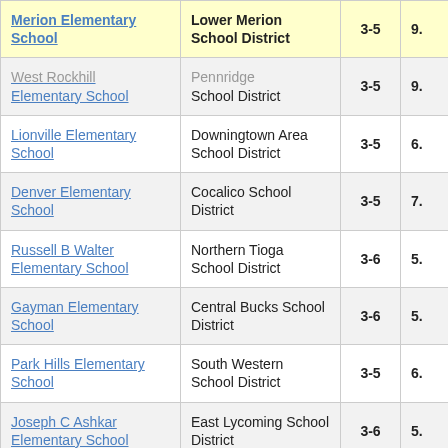| School | District | Grades | Score |
| --- | --- | --- | --- |
| Merion Elementary School | Lower Merion School District | 3-5 | 9. |
| West Rockhill Elementary School | Pennridge School District | 3-5 | 9. |
| Lionville Elementary School | Downingtown Area School District | 3-5 | 6. |
| Denver Elementary School | Cocalico School District | 3-5 | 7. |
| Russell B Walter Elementary School | Northern Tioga School District | 3-6 | 5. |
| Gayman Elementary School | Central Bucks School District | 3-6 | 5. |
| Park Hills Elementary School | South Western School District | 3-5 | 6. |
| Joseph C Ashkar Elementary School | East Lycoming School District | 3-6 | 5. |
| Central Mountain | Keystone Central | 3-8 |  |